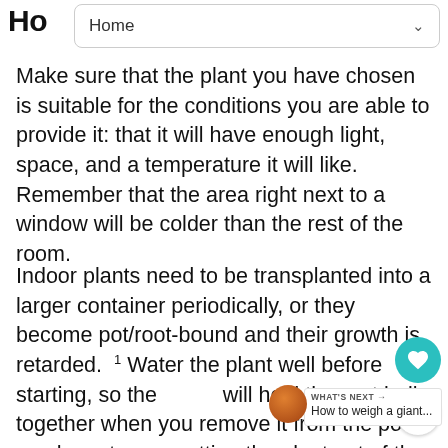Ho
Home
Make sure that the plant you have chosen is suitable for the conditions you are able to provide it: that it will have enough light, space, and a temperature it will like. Remember that the area right next to a window will be colder than the rest of the room.
Indoor plants need to be transplanted into a larger container periodically, or they become pot/root-bound and their growth is retarded. Water the plant well before starting, so the will hold the root ball together when you remove it from the pot. If you have t getting the plant out of the pot, try running a blade around the edge of the pot to release the